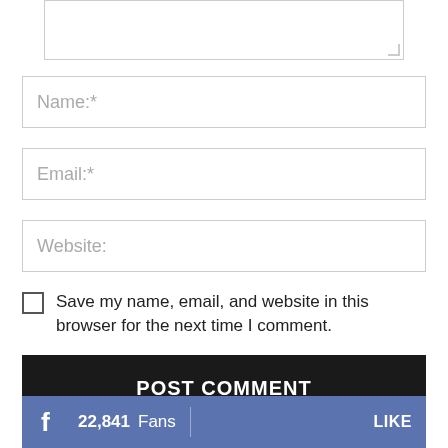[Figure (screenshot): Partial text area input box at the top of a comment form]
Name:*
Email:*
Website:
Save my name, email, and website in this browser for the next time I comment.
POST COMMENT
22,841  Fans  LIKE